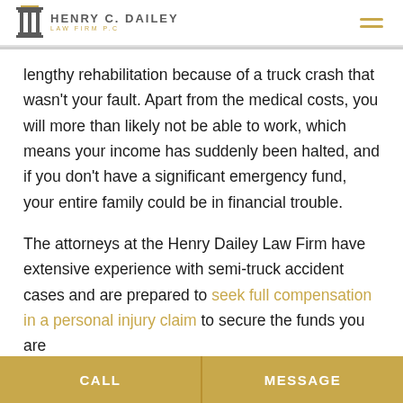HENRY C. DAILEY LAW FIRM P.C
lengthy rehabilitation because of a truck crash that wasn't your fault. Apart from the medical costs, you will more than likely not be able to work, which means your income has suddenly been halted, and if you don't have a significant emergency fund, your entire family could be in financial trouble.
The attorneys at the Henry Dailey Law Firm have extensive experience with semi-truck accident cases and are prepared to seek full compensation in a personal injury claim to secure the funds you are
CALL | MESSAGE